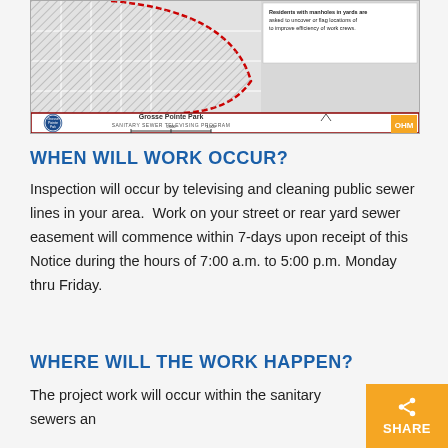[Figure (map): Grosse Pointe Park Sanitary Sewer Televising Program map showing sewer lines, with city logo, OHM logo, scale bar, and note about residents with manholes in yards.]
WHEN WILL WORK OCCUR?
Inspection will occur by televising and cleaning public sewer lines in your area.  Work on your street or rear yard sewer easement will commence within 7-days upon receipt of this Notice during the hours of 7:00 a.m. to 5:00 p.m. Monday thru Friday.
WHERE WILL THE WORK HAPPEN?
The project work will occur within the sanitary sewers an